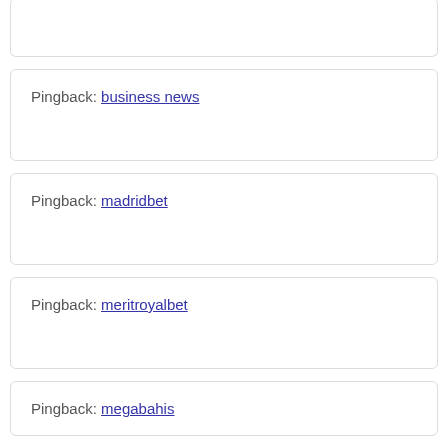Pingback: business news
Pingback: madridbet
Pingback: meritroyalbet
Pingback: megabahis